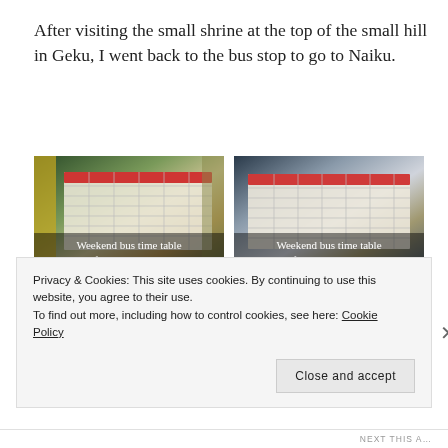After visiting the small shrine at the top of the small hill in Geku, I went back to the bus stop to go to Naiku.
[Figure (photo): Weekend bus time table from Geku-mae — photo of a Japanese bus schedule posted on a board, showing a timetable with red header bar and grid of times]
[Figure (photo): Weekend bus time table from Naiku-mae — photo of a Japanese bus schedule posted on a board, with a red header bar and grid of departure times]
[Figure (photo): Photo of arcade machines with a Pikachu character visible in the center, colorful illuminated machines on either side in a dark arcade setting]
Privacy & Cookies: This site uses cookies. By continuing to use this website, you agree to their use.
To find out more, including how to control cookies, see here: Cookie Policy
Close and accept
NEXT THIS A…